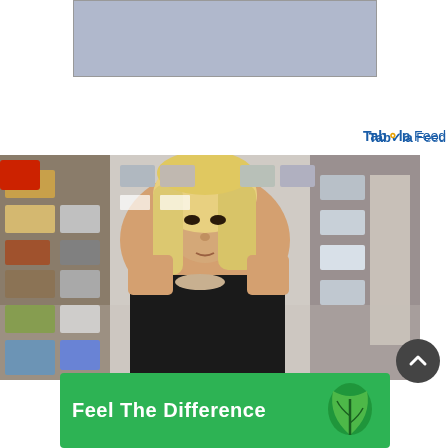[Figure (other): Gray advertisement placeholder box]
Taboola Feed
[Figure (photo): Security camera footage of a blonde woman in a black strapless dress with a bow, walking through a retail store shoe aisle]
[Figure (other): Green advertisement banner with white text 'Feel The Difference' and a leaf logo]